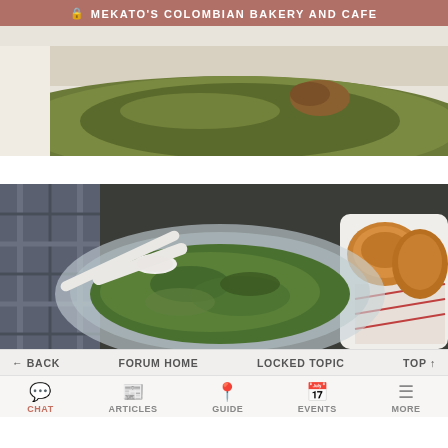🔒 MEKATO'S COLOMBIAN BAKERY AND CAFE
[Figure (photo): Close-up photo of a cooked green plantain or similar food item on a white surface, olive-green and brown tones.]
[Figure (photo): Photo of a glass bowl containing green chimichurri sauce with a white spoon, alongside fried bread/arepas on a plate with red-striped paper, dark background.]
← BACK   FORUM HOME   LOCKED TOPIC   TOP ↑
CHAT   ARTICLES   GUIDE   EVENTS   MORE